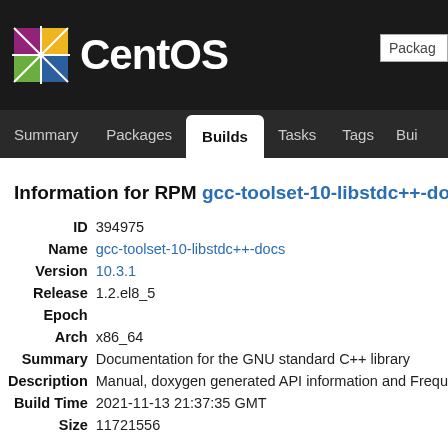CentOS
Summary | Packages | Builds | Tasks | Tags | Bui...
Information for RPM gcc-toolset-10-libstdc++-do
| Field | Value |
| --- | --- |
| ID | 394975 |
| Name | gcc-toolset-10-libstdc++-docs |
| Version | 10.3.1 |
| Release | 1.2.el8_5 |
| Epoch |  |
| Arch | x86_64 |
| Summary | Documentation for the GNU standard C++ library |
| Description | Manual, doxygen generated API information and Frequ... |
| Build Time | 2021-11-13 21:37:35 GMT |
| Size | 11721556 |